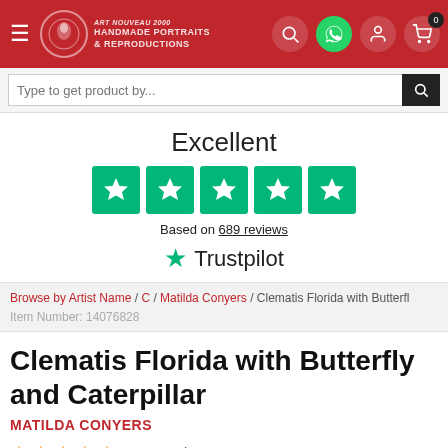[Figure (screenshot): Website header with red background, hamburger menu, Handmade Portraits & Reproductions logo, search icon, WhatsApp icon, user icon, and cart icon with badge showing 0]
[Figure (infographic): Trustpilot rating section showing Excellent rating with 5 green star boxes and text 'Based on 689 reviews' with Trustpilot logo]
Browse by Artist Name / C / Matilda Conyers / Clematis Florida with Butterfl
Item Number: 14076828
Clematis Florida with Butterfly and Caterpillar
MATILDA CONYERS
2065 Reviews
Get hand painted museum quality reproduction of "Clematis